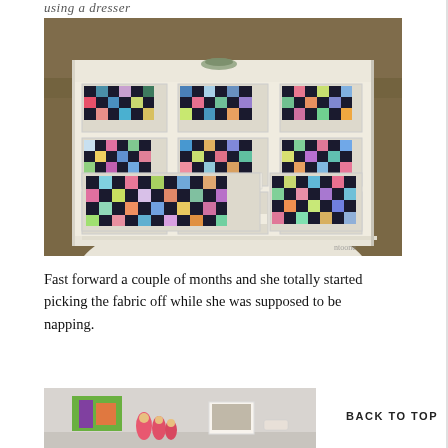using a dresser
[Figure (photo): A white painted dresser with colorful patchwork quilt fabric squares decoupaged onto the drawer fronts, photographed outdoors on grass]
Fast forward a couple of months and she totally started picking the fabric off while she was supposed to be napping.
[Figure (photo): Bottom portion of image showing a shelf or dresser top with matryoshka dolls, framed photos, and decorative items]
BACK TO TOP